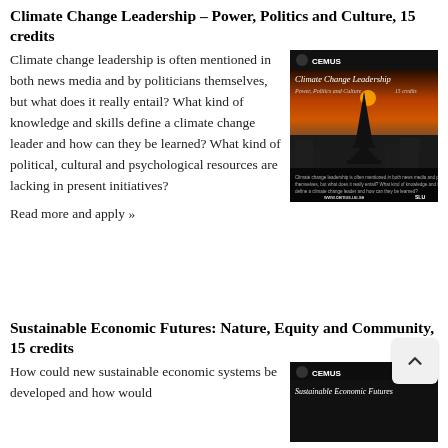Climate Change Leadership – Power, Politics and Culture, 15 credits
Climate change leadership is often mentioned in both news media and by politicians themselves, but what does it really entail? What kind of knowledge and skills define a climate change leader and how can they be learned? What kind of political, cultural and psychological resources are lacking in present initiatives?
[Figure (photo): CEMUS course brochure for Climate Change Leadership – Power, Politics and Culture, 15 credits. Dark image showing the Eiffel Tower at sunset with an orange sky. CEMUS logo and www.cemus.uu.se at bottom.]
Read more and apply »
Sustainable Economic Futures: Nature, Equity and Community, 15 credits
How could new sustainable economic systems be developed and how would
[Figure (photo): CEMUS course brochure for Sustainable Economic Futures. Dark background with CEMUS logo and course title text.]